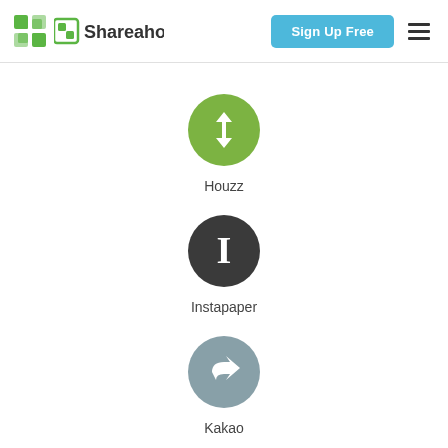Shareaholic | Sign Up Free
[Figure (logo): Houzz app icon - green circle with white geometric H logo]
Houzz
[Figure (logo): Instapaper app icon - dark grey circle with white capital letter I]
Instapaper
[Figure (logo): Kakao app icon - grey circle with white share/forward arrow]
Kakao